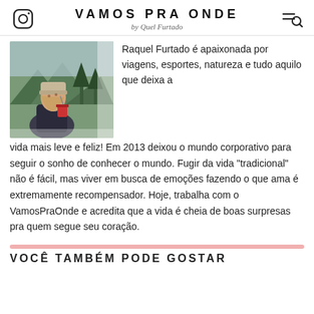VAMOS PRA ONDE by Quel Furtado
[Figure (photo): Woman wearing a knit hat drinking from a red cup outdoors in a mountainous, forested setting]
Raquel Furtado é apaixonada por viagens, esportes, natureza e tudo aquilo que deixa a vida mais leve e feliz! Em 2013 deixou o mundo corporativo para seguir o sonho de conhecer o mundo. Fugir da vida "tradicional" não é fácil, mas viver em busca de emoções fazendo o que ama é extremamente recompensador. Hoje, trabalha com o VamosPraOnde e acredita que a vida é cheia de boas surpresas pra quem segue seu coração.
VOCÊ TAMBÉM PODE GOSTAR